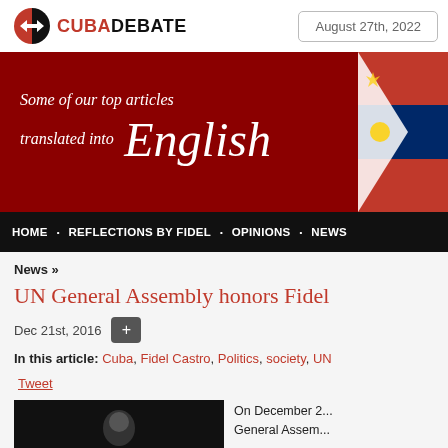CUBADEBATE | August 27th, 2022
[Figure (screenshot): CubaDebate banner showing 'Some of our top articles translated into English' on a dark red background with flag imagery]
HOME • REFLECTIONS BY FIDEL • OPINIONS • NEWS
News »
UN General Assembly honors Fidel
Dec 21st, 2016
In this article: Cuba, Fidel Castro, Politics, society, UN
Tweet
[Figure (photo): Black and white photo of a person]
On December 2... General Assem...